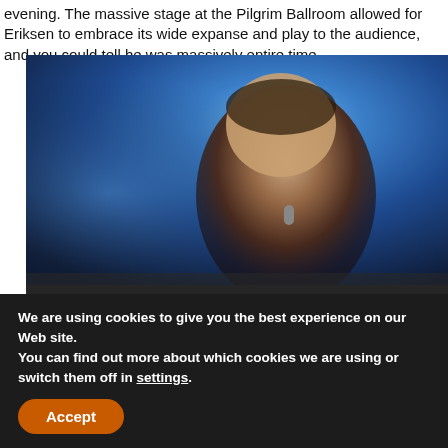evening. The massive stage at the Pilgrim Ballroom allowed for Eriksen to embrace its wide expanse and play to the audience, and you could tell he was massively [enjoying himself the] entire time.
[Figure (photo): Video player showing a concert performer singing into a microphone under blue stage lighting, with a dark video controls overlay showing a play button and a warning: 'Contains scenes of flashing images.' with a G rating badge. Below the controls a title bar reads 'On tour with Ten Tonnes and ONR'.]
We are using cookies to give you the best experience on our Web site.
You can find out more about which cookies we are using or switch them off in settings.